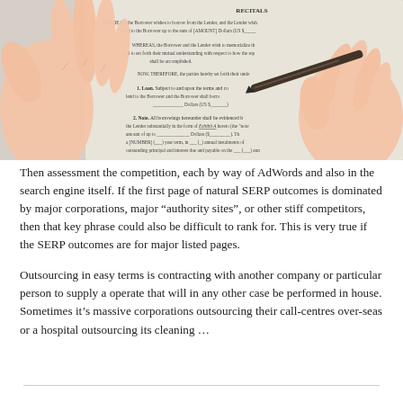[Figure (illustration): Illustrated image of hands near a legal/loan document being signed with a pen. The document shows 'RECITALS' heading and WHEREAS/NOW THEREFORE clauses with blanks for amounts and terms.]
Then assessment the competition, each by way of AdWords and also in the search engine itself. If the first page of natural SERP outcomes is dominated by major corporations, major “authority sites”, or other stiff competitors, then that key phrase could also be difficult to rank for. This is very true if the SERP outcomes are for major listed pages.
Outsourcing in easy terms is contracting with another company or particular person to supply a operate that will in any other case be performed in house. Sometimes it’s massive corporations outsourcing their call-centres over-seas or a hospital outsourcing its cleaning …